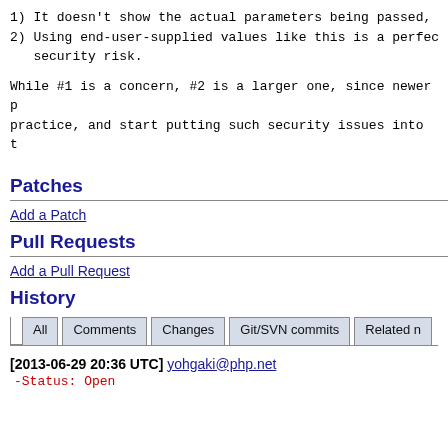1) It doesn't show the actual parameters being passed,
2) Using end-user-supplied values like this is a perfect security risk.
While #1 is a concern, #2 is a larger one, since newer practice, and start putting such security issues into t
Patches
Add a Patch
Pull Requests
Add a Pull Request
History
All | Comments | Changes | Git/SVN commits | Related n
[2013-06-29 20:36 UTC] yohgaki@php.net
-Status: Open